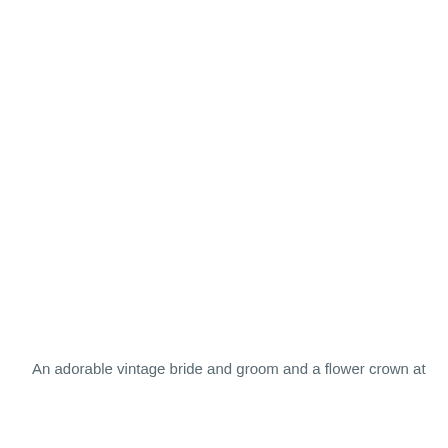An adorable vintage bride and groom and a flower crown at